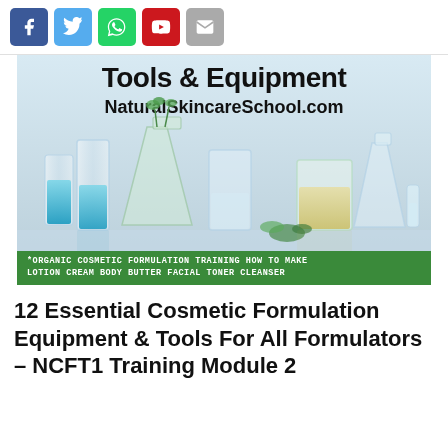[Social share buttons: Facebook, Twitter, WhatsApp, YouTube, Email]
[Figure (photo): Laboratory beakers and flasks with colored liquids on a reflective surface, with plant sprigs, and overlay text reading 'Tools & Equipment NaturalSkincareSchool.com'. Green banner at bottom: *ORGANIC COSMETIC FORMULATION TRAINING HOW TO MAKE LOTION CREAM BODY BUTTER FACIAL TONER CLEANSER]
12 Essential Cosmetic Formulation Equipment & Tools For All Formulators – NCFT1 Training Module 2